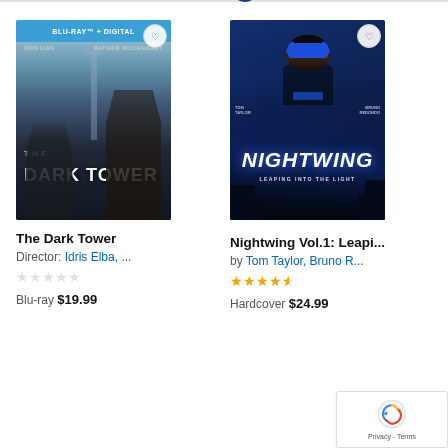[Figure (screenshot): Amazon product listing screenshot showing two products side by side: 'The Dark Tower' Blu-ray and 'Nightwing Vol.1: Leaping into the Light' hardcover book.]
The Dark Tower
Director: Idris Elba, ...
Blu-ray $19.99
Nightwing Vol.1: Leapi...
by Tom Taylor, Bruno R...
Hardcover $24.99